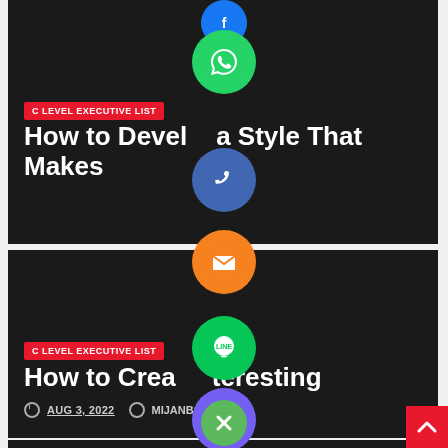[Figure (screenshot): Dark-themed blog card with red badge 'C LEVEL EXECUTIVE LIST', title 'How to Develop a Style That Makes', date AUG 3, 2022 and author MIJANBOKUL]
C LEVEL EXECUTIVE LIST
How to Develop a Style That Makes
AUG 3, 2022   MIJANBOKUL
[Figure (screenshot): Dark-themed blog card with red badge 'C LEVEL EXECUTIVE LIST', title 'How to Create Interesting', date AUG 3, 2022 and author MIJANBOKUL]
C LEVEL EXECUTIVE LIST
How to Create Interesting
AUG 3, 2022   MIJANBOKUL